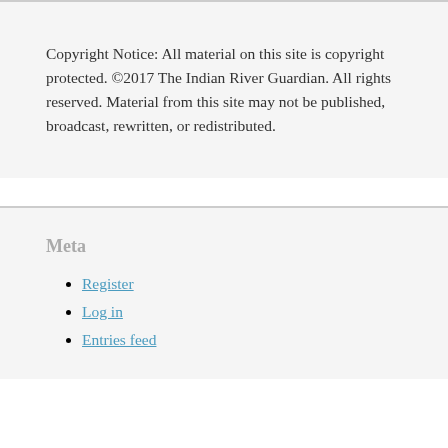Copyright Notice: All material on this site is copyright protected. ©2017 The Indian River Guardian. All rights reserved. Material from this site may not be published, broadcast, rewritten, or redistributed.
Meta
Register
Log in
Entries feed